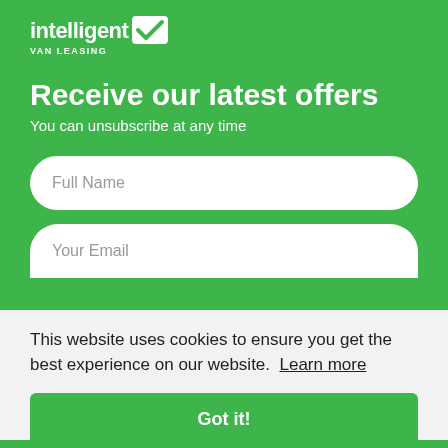[Figure (logo): Intelligent Van Leasing logo with white text and checkmark icon on green background]
Receive our latest offers
You can unsubscribe at any time
Full Name
Your Email
This website uses cookies to ensure you get the best experience on our website.  Learn more
Got it!